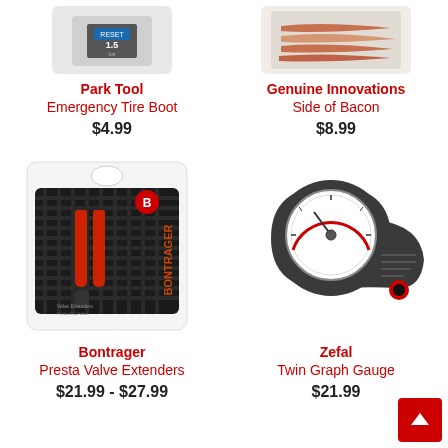[Figure (photo): Park Tool Emergency Tire Boot product photo (partially cropped at top)]
Park Tool
Emergency Tire Boot
$4.99
[Figure (photo): Genuine Innovations Side of Bacon product photo (partially cropped at top)]
Genuine Innovations
Side of Bacon
$8.99
[Figure (photo): Bontrager Presta Valve Extenders product in blister packaging]
Bontrager
Presta Valve Extenders
$21.99 - $27.99
[Figure (photo): Zefal Twin Graph Gauge pressure gauge tool]
Zefal
Twin Graph Gauge
$21.99